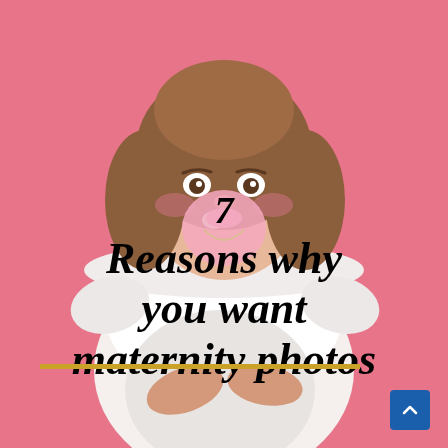[Figure (photo): Pregnant woman in white off-shoulder top blowing a pink bubble gum bubble, standing against a pink background, holding her belly]
7 Reasons why you want maternity photos